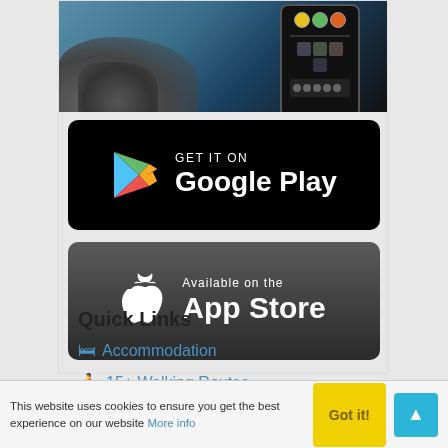[Figure (photo): Hand holding a smartphone against a coastal/rocky background]
[Figure (other): GET IT ON Google Play badge — black rounded rectangle with Google Play triangle logo and text]
[Figure (other): Available on the App Store badge — dark rounded rectangle with Apple logo and text]
Quick Links
Accommodation
15+ Walking Routes
This website uses cookies to ensure you get the best experience on our website More info  Got it!